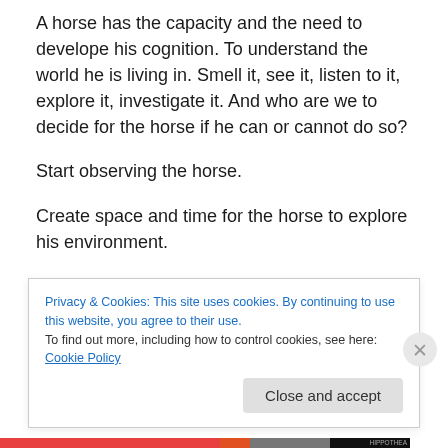A horse has the capacity and the need to develope his cognition. To understand the world he is living in. Smell it, see it, listen to it, explore it, investigate it. And who are we to decide for the horse if he can or cannot do so?
Start observing the horse.
Create space and time for the horse to explore his environment.
Decentare yourself  in the interaction with the horse.
One of the caracteristics of cognitive learning is the
Privacy & Cookies: This site uses cookies. By continuing to use this website, you agree to their use.
To find out more, including how to control cookies, see here: Cookie Policy